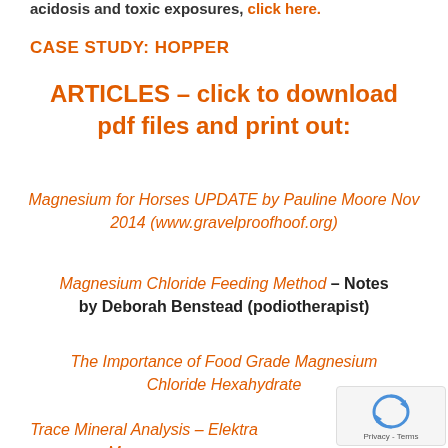acidosis and toxic exposures, click here.
CASE STUDY:  HOPPER
ARTICLES – click to download pdf files and print out:
Magnesium for Horses UPDATE by Pauline Moore Nov 2014 (www.gravelproofhoof.org)
Magnesium Chloride Feeding Method – Notes by Deborah Benstead (podiotherapist)
The Importance of Food Grade Magnesium Chloride Hexahydrate
Trace Mineral Analysis – Elektra Magnesium Chloride Flakes (food grade)